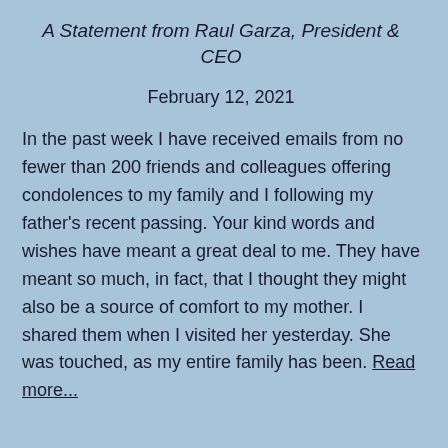A Statement from Raul Garza, President & CEO
February 12, 2021
In the past week I have received emails from no fewer than 200 friends and colleagues offering condolences to my family and I following my father's recent passing. Your kind words and wishes have meant a great deal to me. They have meant so much, in fact, that I thought they might also be a source of comfort to my mother. I shared them when I visited her yesterday. She was touched, as my entire family has been. Read more...